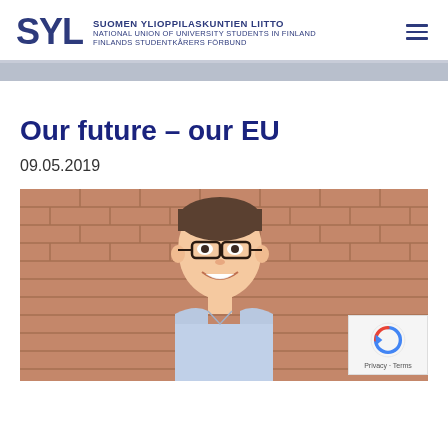[Figure (logo): SYL logo with text: SUOMEN YLIOPPILASKUNTIEN LIITTO, NATIONAL UNION OF UNIVERSITY STUDENTS IN FINLAND, FINLANDS STUDENTKÅRERS FÖRBUND]
Our future – our EU
09.05.2019
[Figure (photo): A young man with glasses smiling in front of a brick wall, wearing a light blue shirt]